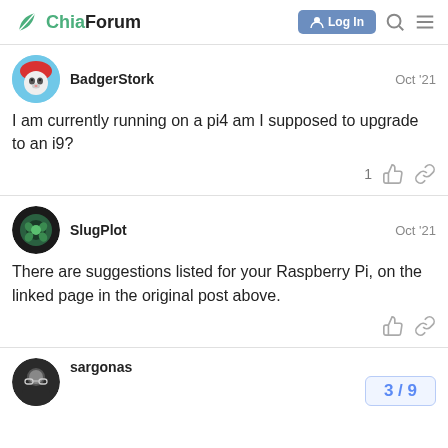ChiaForum | Log In
BadgerStork — Oct '21
I am currently running on a pi4 am I supposed to upgrade to an i9?
SlugPlot — Oct '21
There are suggestions listed for your Raspberry Pi, on the linked page in the original post above.
sargonas
3 / 9